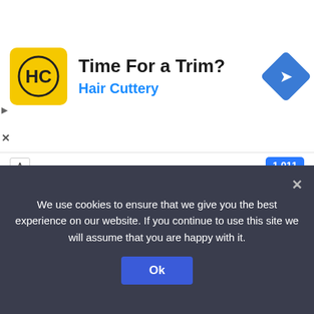[Figure (screenshot): Hair Cuttery advertisement banner with logo, 'Time For a Trim?' headline, and navigation icon]
F1  1,011
RACING  1,009
GOLF  1,007
MMA  994
NBA  990
NFL  988
FANTASY  974
We use cookies to ensure that we give you the best experience on our website. If you continue to use this site we will assume that you are happy with it.